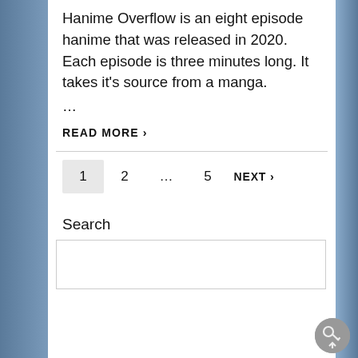Hanime Overflow is an eight episode hanime that was released in 2020. Each episode is three minutes long. It takes it’s source from a manga.
...
READ MORE ›
1  2  ...  5  NEXT ›
Search